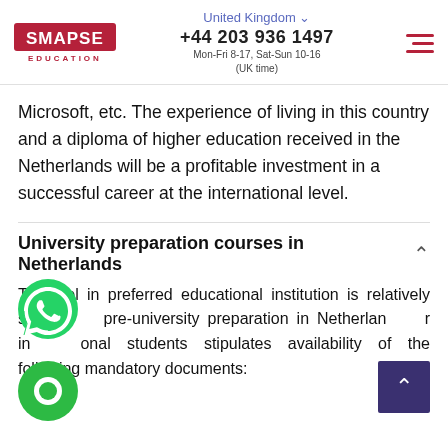SMAPSE EDUCATION | United Kingdom | +44 203 936 1497 | Mon-Fri 8-17, Sat-Sun 10-16 (UK time)
Microsoft, etc. The experience of living in this country and a diploma of higher education received in the Netherlands will be a profitable investment in a successful career at the international level.
University preparation courses in Netherlands
[Figure (illustration): WhatsApp icon (green phone bubble) and green chat bubble icon overlaid on page content]
To enrol in preferred educational institution is relatively simple: pre-university preparation in Netherlands for international students stipulates availability of the following mandatory documents: